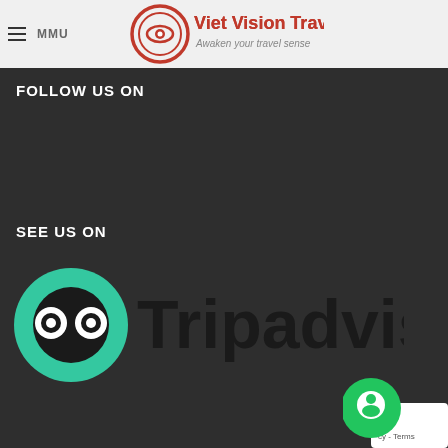[Figure (logo): Viet Vision Travel logo with orange circular eye symbol and text 'Viet Vision Travel / Awaken your travel sense' with registered trademark symbol]
FOLLOW US ON
SEE US ON
[Figure (logo): Tripadvisor logo: green circle with owl face (two circles as eyes) and text 'Tripadvisor' in black]
[Figure (other): Green chat bubble icon in bottom right corner with white circle/person icon inside, and partial reCAPTCHA badge showing 'cy - Terms']